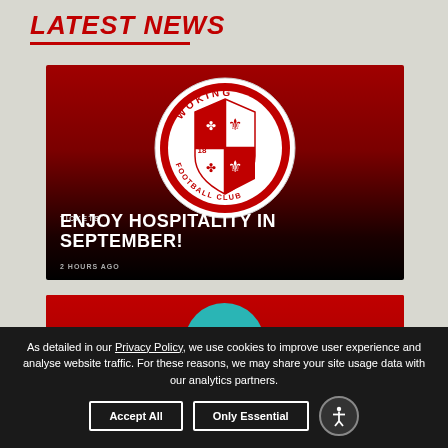LATEST NEWS
[Figure (illustration): Woking Football Club news card with club badge on red/dark background. Category tag: TICKETS. Title: ENJOY HOSPITALITY IN SEPTEMBER! Timestamp: 2 HOURS AGO]
[Figure (illustration): Second news card partially visible, red background with a teal/blue circular badge reading 'The']
As detailed in our Privacy Policy, we use cookies to improve user experience and analyse website traffic. For these reasons, we may share your site usage data with our analytics partners.
Accept All
Only Essential